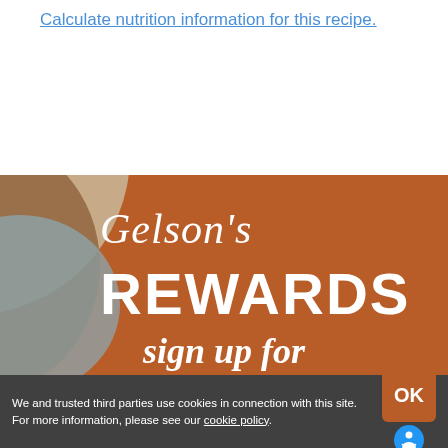Calculate nutrition information for this recipe.
[Figure (illustration): Gelson's Rewards promotional banner with brown/terracotta background, decorative circular arc shapes in beige, gray-blue and brown, featuring 'Gelson's REWARDS' text in white and 'sign up for' text partially visible at bottom]
We and trusted third parties use cookies in connection with this site. For more information, please see our cookie policy.